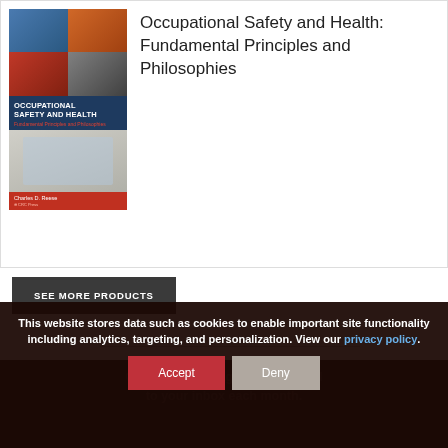[Figure (photo): Book cover of 'Occupational Safety and Health: Fundamental Principles and Philosophies' by Charles D. Reese, published by CRC Press. Cover shows industrial/safety workplace images at top, title in white on dark blue background, subtitle in red, author name on red footer strip.]
Occupational Safety and Health: Fundamental Principles and Philosophies
SEE MORE PRODUCTS
This website stores data such as cookies to enable important site functionality including analytics, targeting, and personalization. View our privacy policy.
Get our new eMagazine delivered to your inbox each month.
Accept   Deny